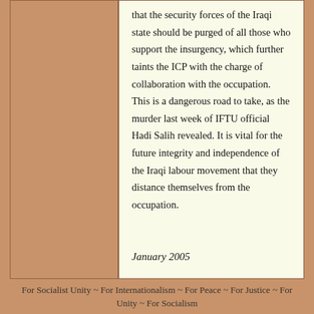that the security forces of the Iraqi state should be purged of all those who support the insurgency, which further taints the ICP with the charge of collaboration with the occupation. This is a dangerous road to take, as the murder last week of IFTU official Hadi Salih revealed. It is vital for the future integrity and independence of the Iraqi labour movement that they distance themselves from the occupation.
January 2005
For Socialist Unity ~ For Internationalism ~ For Peace ~ For Justice ~ For Unity ~ For Socialism